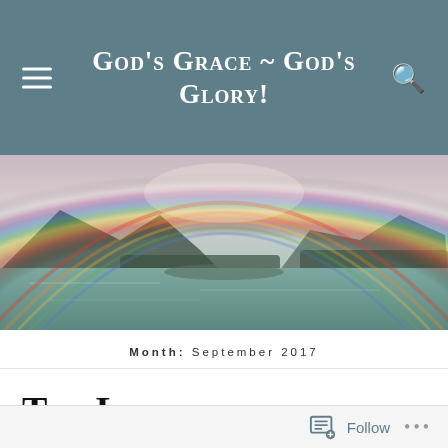God's Grace ~ God's Glory!
[Figure (photo): Panoramic landscape photo showing a full rainbow arching over a calm mountain lake with forested hills and mountain peaks in the background under a hazy sky.]
Month: September 2017
The Lens of Contentment